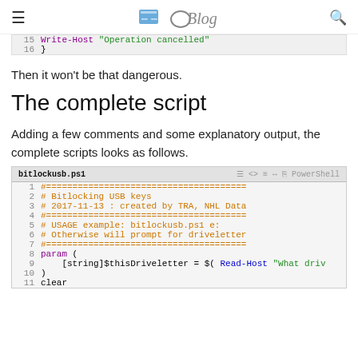Blog
[Figure (screenshot): Code block showing lines 15-16 of a PowerShell script: Write-Host 'Operation cancelled' and closing brace]
Then it won’t be that dangerous.
The complete script
Adding a few comments and some explanatory output, the complete scripts looks as follows.
[Figure (screenshot): PowerShell code block titled bitlockusb.ps1 showing lines 1-11 of script including comments about Bitlocking USB keys, param block, and clear command]